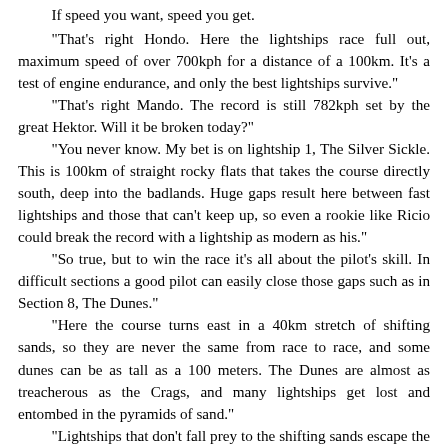If speed you want, speed you get.
"That's right Hondo. Here the lightships race full out, maximum speed of over 700kph for a distance of a 100km. It's a test of engine endurance, and only the best lightships survive."
"That's right Mando. The record is still 782kph set by the great Hektor. Will it be broken today?"
"You never know. My bet is on lightship 1, The Silver Sickle. This is 100km of straight rocky flats that takes the course directly south, deep into the badlands. Huge gaps result here between fast lightships and those that can't keep up, so even a rookie like Ricio could break the record with a lightship as modern as his."
"So true, but to win the race it's all about the pilot's skill. In difficult sections a good pilot can easily close those gaps such as in Section 8, The Dunes."
"Here the course turns east in a 40km stretch of shifting sands, so they are never the same from race to race, and some dunes can be as tall as a 100 meters. The Dunes are almost as treacherous as the Crags, and many lightships get lost and entombed in the pyramids of sand."
"Lightships that don't fall prey to the shifting sands escape the dunes in Section 9, The Low Canyon. Here the circuit turns back towards the north-west, headed for the home stretch but don't let